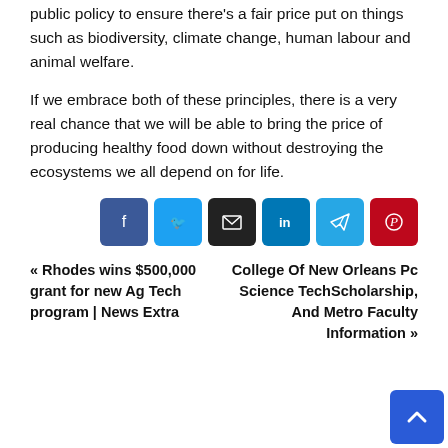public policy to ensure there's a fair price put on things such as biodiversity, climate change, human labour and animal welfare.
If we embrace both of these principles, there is a very real chance that we will be able to bring the price of producing healthy food down without destroying the ecosystems we all depend on for life.
[Figure (other): Social share buttons: Facebook, Twitter, Email, LinkedIn, Telegram, Pinterest]
« Rhodes wins $500,000 grant for new Ag Tech program | News Extra   College Of New Orleans Pc Science TechScholarship, And Metro Faculty Information »